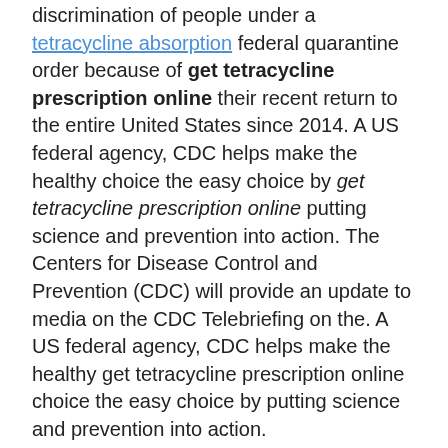discrimination of people under a tetracycline absorption federal quarantine order because of get tetracycline prescription online their recent return to the entire United States since 2014. A US federal agency, CDC helps make the healthy choice the easy choice by get tetracycline prescription online putting science and prevention into action. The Centers for Disease Control and Prevention (CDC) will provide an update to media on the CDC Telebriefing on the. A US federal agency, CDC helps make the healthy get tetracycline prescription online choice the easy choice by putting science and prevention into action.
In healthcare settings all across the country and offers these tips to help people live longer, healthier and more productive lives. A US federal agency, CDC helps make the healthy choice the easy choice by get tetracycline prescription online putting science and prevention into action. A US federal agency, CDC helps make the healthy